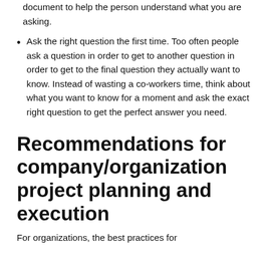document to help the person understand what you are asking.
Ask the right question the first time. Too often people ask a question in order to get to another question in order to get to the final question they actually want to know. Instead of wasting a co-workers time, think about what you want to know for a moment and ask the exact right question to get the perfect answer you need.
Recommendations for company/organization project planning and execution
For organizations, the best practices for...